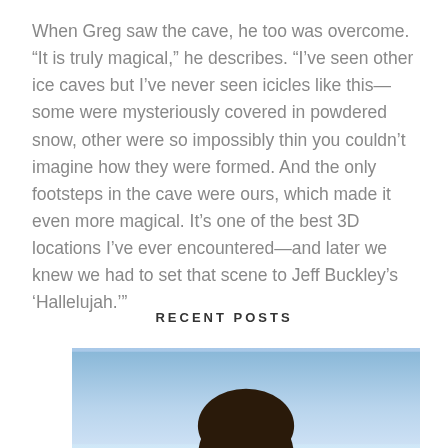When Greg saw the cave, he too was overcome. “It is truly magical,” he describes. “I’ve seen other ice caves but I’ve never seen icicles like this—some were mysteriously covered in powdered snow, other were so impossibly thin you couldn’t imagine how they were formed. And the only footsteps in the cave were ours, which made it even more magical. It’s one of the best 3D locations I’ve ever encountered—and later we knew we had to set that scene to Jeff Buckley’s ‘Hallelujah.’”
RECENT POSTS
[Figure (photo): Partial photo showing a person's head/hair against a blue sky background, cropped at the bottom of the page]